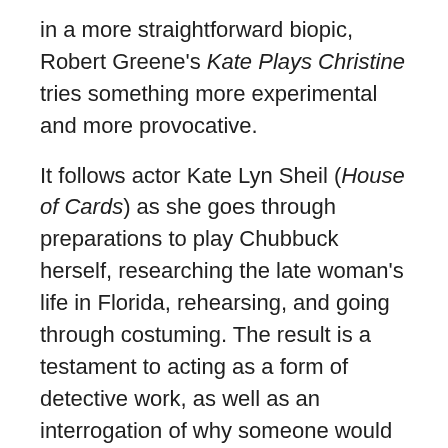in a more straightforward biopic, Robert Greene's Kate Plays Christine tries something more experimental and more provocative.
It follows actor Kate Lyn Sheil (House of Cards) as she goes through preparations to play Chubbuck herself, researching the late woman's life in Florida, rehearsing, and going through costuming. The result is a testament to acting as a form of detective work, as well as an interrogation of why someone would want to make a Film about Chubbuck in the first place, using her depression and loneliness as uneasy symbols of something larger. —A.W.
Where to see it: Kate Plays Christine is available for rent and Purchase online.